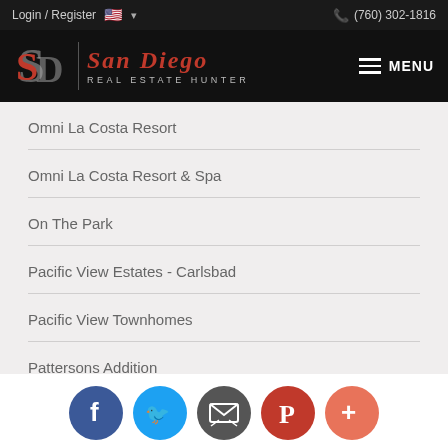Login / Register  🇺🇸 ▾  (760) 302-1816
[Figure (logo): San Diego Real Estate Hunter logo with SD monogram in red, divider line, and text 'San Diego Real Estate Hunter' in red/grey on black background, with MENU hamburger button on right]
Omni La Costa Resort
Omni La Costa Resort & Spa
On The Park
Pacific View Estates - Carlsbad
Pacific View Townhomes
Pattersons Addition
Pavona
[Figure (infographic): Social sharing buttons: Facebook (blue circle, f), Twitter (light blue circle, bird), Email (grey circle, envelope), Pinterest (red circle, P), More (orange-red circle, +)]